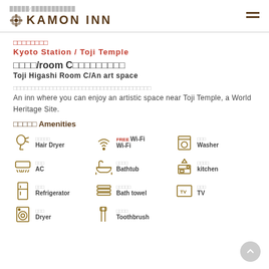KAMON INN
Kyoto Station / Toji Temple
Toji Higashi Room C/An art space
An inn where you can enjoy an artistic space near Toji Temple, a World Heritage Site.
Amenities
Hair Dryer
Wi-Fi / FREE Wi-Fi
Washer
AC
Bathtub
kitchen
Refrigerator
Bath towel
TV
Dryer
Toothbrush